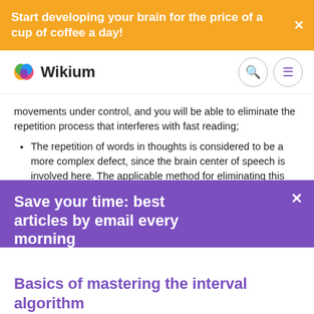Start developing your brain for the price of a cup of coffee a day!
[Figure (logo): Wikium logo with colorful brain icon and text 'Wikium']
movements under control, and you will be able to eliminate the repetition process that interferes with fast reading;
The repetition of words in thoughts is considered to be a more complex defect, since the brain center of speech is involved here. The applicable method for eliminating this problem is called the "fight fire with fire" method...
Save your time: best articles by email every morning
Email
Subscribe to the newsletter
Basics of mastering the interval algorithm